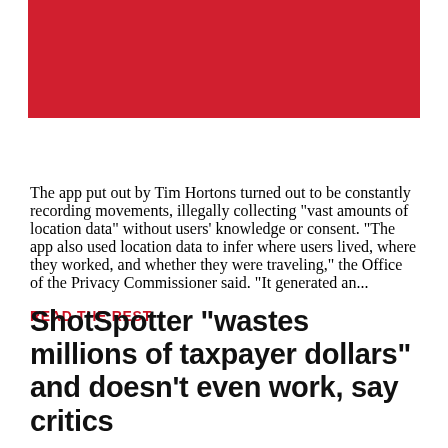[Figure (photo): Red banner image at top of page]
The app put out by Tim Hortons turned out to be constantly recording movements, illegally collecting "vast amounts of location data" without users' knowledge or consent. "The app also used location data to infer where users lived, where they worked, and whether they were traveling," the Office of the Privacy Commissioner said. "It generated an...
READ THE REST
ShotSpotter "wastes millions of taxpayer dollars" and doesn't even work, say critics